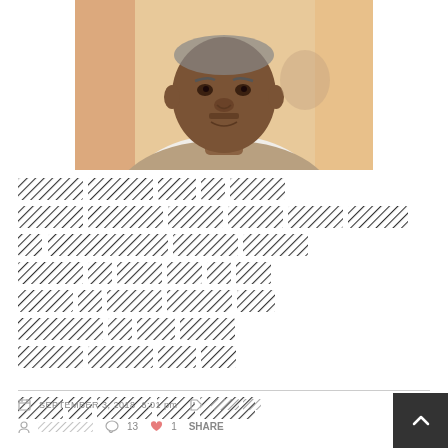[Figure (photo): Portrait photo of a middle-aged African man in a light brown blazer, looking at the camera, in an indoor setting with curtains in the background.]
[Tigrinya/Ethiopic script text paragraph - redacted as non-Latin characters rendered as hatched pattern in original]
SEPTEMBER 3, 2018  6:01 pm  [tag icon]  [Tigrinya text]  [social icons]  13  1  SHARE